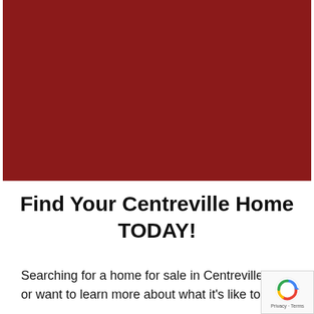[Figure (photo): Dark red/maroon colored rectangular image block, appears to be a placeholder or image with a solid dark red background color.]
Find Your Centreville Home TODAY!
Searching for a home for sale in Centreville or want to learn more about what it's like to